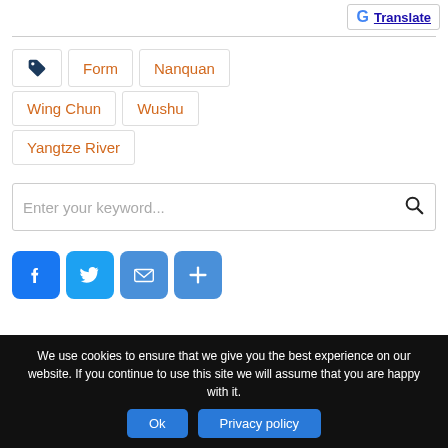[Figure (logo): Google Translate button with G logo and underlined Translate text]
Form
Nanquan
Wing Chun
Wushu
Yangtze River
Enter your keyword...
[Figure (infographic): Social share buttons: Facebook, Twitter, Email, Share (plus icon)]
We use cookies to ensure that we give you the best experience on our website. If you continue to use this site we will assume that you are happy with it.
Ok   Privacy policy